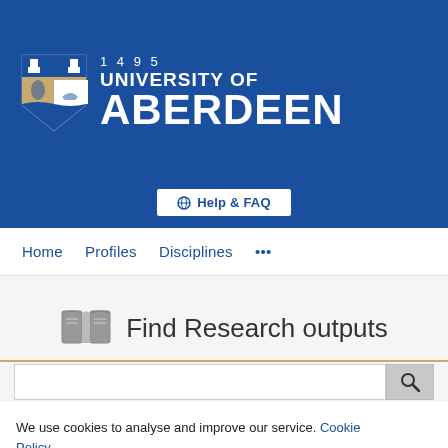[Figure (logo): University of Aberdeen logo with crest/shield and text '1495 UNIVERSITY OF ABERDEEN' on blue background]
⊕ Help & FAQ
Home   Profiles   Disciplines   ...
Find Research outputs
We use cookies to analyse and improve our service. Cookie Policy